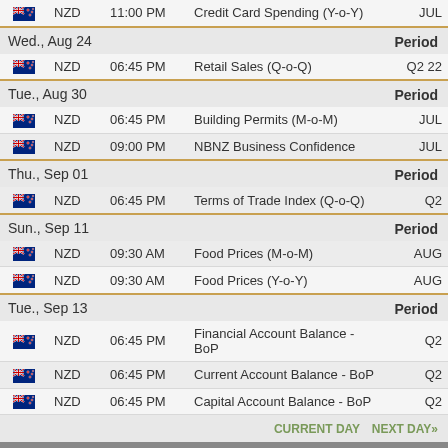| Flag | Currency | Time | Event | Period |
| --- | --- | --- | --- | --- |
| NZD flag | NZD | 11:00 PM | Credit Card Spending (Y-o-Y) | JUL |
| Wed., Aug 24 |  |  |  | Period |
| NZD flag | NZD | 06:45 PM | Retail Sales (Q-o-Q) | Q2 22 |
| Tue., Aug 30 |  |  |  | Period |
| NZD flag | NZD | 06:45 PM | Building Permits (M-o-M) | JUL |
| NZD flag | NZD | 09:00 PM | NBNZ Business Confidence | JUL |
| Thu., Sep 01 |  |  |  | Period |
| NZD flag | NZD | 06:45 PM | Terms of Trade Index (Q-o-Q) | Q2 |
| Sun., Sep 11 |  |  |  | Period |
| NZD flag | NZD | 09:30 AM | Food Prices (M-o-M) | AUG |
| NZD flag | NZD | 09:30 AM | Food Prices (Y-o-Y) | AUG |
| Tue., Sep 13 |  |  |  | Period |
| NZD flag | NZD | 06:45 PM | Financial Account Balance - BoP | Q2 |
| NZD flag | NZD | 06:45 PM | Current Account Balance - BoP | Q2 |
| NZD flag | NZD | 06:45 PM | Capital Account Balance - BoP | Q2 |
CURRENT DAY   NEXT DAY»
Economic Calendar    Forex Glossary    Foreign Exchange Rates    Fore
Do not s
Copyright © 2022 All rights reserved